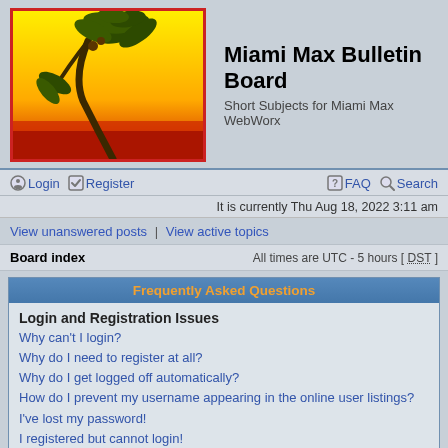[Figure (illustration): Miami Max WebWorx logo with a stylized palm tree against a yellow-to-red sunset gradient background, with red border]
Miami Max Bulletin Board
Short Subjects for Miami Max WebWorx
Login | Register | FAQ | Search
It is currently Thu Aug 18, 2022 3:11 am
View unanswered posts | View active topics
Board index   All times are UTC - 5 hours [ DST ]
Frequently Asked Questions
Login and Registration Issues
Why can't I login?
Why do I need to register at all?
Why do I get logged off automatically?
How do I prevent my username appearing in the online user listings?
I've lost my password!
I registered but cannot login!
I registered in the past but cannot login any more?!
What is COPPA?
Why can't I register?
What does the "Delete all board cookies" do?
User Preferences and settings
How do I change my settings?